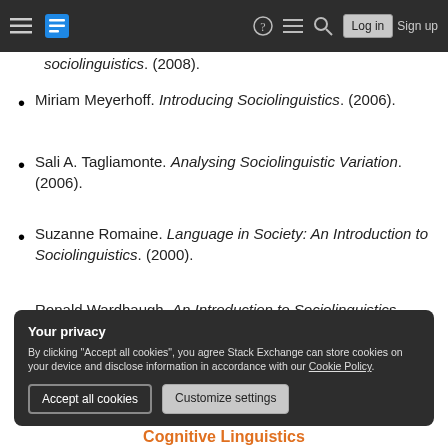Stack Exchange navigation bar with hamburger menu, logo, help, chat, search icons, Log in and Sign up buttons
sociolinguistics. (2008). [partial, top cut off]
Miriam Meyerhoff. Introducing Sociolinguistics. (2006).
Sali A. Tagliamonte. Analysing Sociolinguistic Variation. (2006).
Suzanne Romaine. Language in Society: An Introduction to Sociolinguistics. (2000).
Ronald Wardhaugh. An Introduction to Sociolinguistics. (2009).
Your privacy
By clicking "Accept all cookies", you agree Stack Exchange can store cookies on your device and disclose information in accordance with our Cookie Policy.
Cognitive Linguistics